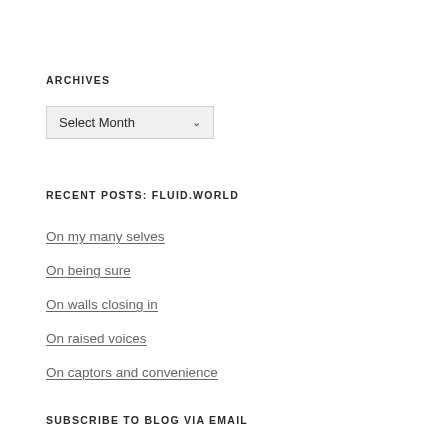ARCHIVES
Select Month
RECENT POSTS: FLUID.WORLD
On my many selves
On being sure
On walls closing in
On raised voices
On captors and convenience
SUBSCRIBE TO BLOG VIA EMAIL